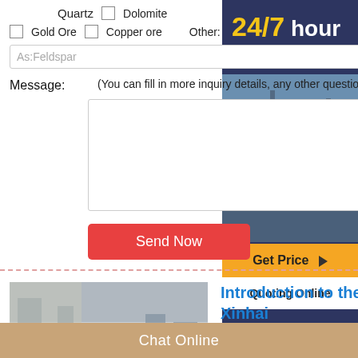Quartz  ☐  Dolomite
☐  Gold Ore  ☐  Copper ore   Other:
As:Feldspar
Message: (You can fill in more inquiry details, any other questions.)
[textarea input]
Send Now
24/7 hour online
Get Price ▶
Quoting Online
Introduction to the Sludge Thickening machine - Xinhai
2015-12-8   Sludge thickening machine
[Figure (photo): Industrial facility photo showing machinery]
Chat Online